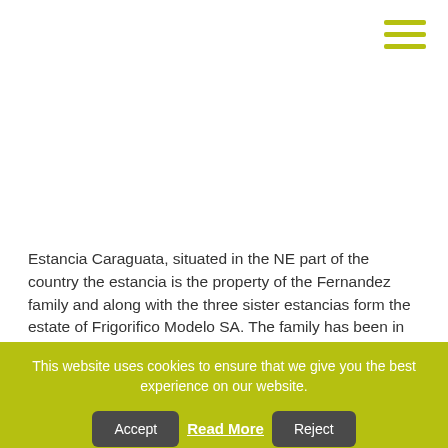[Figure (other): White image area placeholder at top of page]
Estancia Caraguata, situated in the NE part of the country the estancia is the property of the Fernandez family and along with the three sister estancias form the estate of Frigorifico Modelo SA. The family has been in agriculture in Uruguay since the first
This website uses cookies to ensure that we give you the best experience on our website.
Accept  Read More  Reject